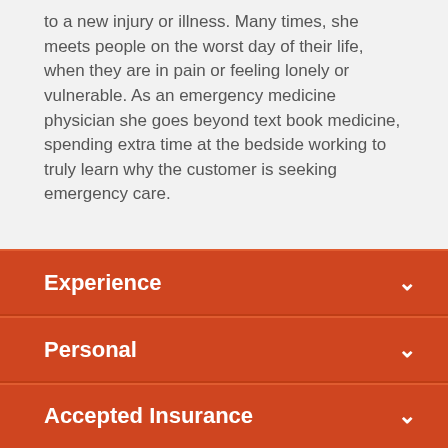to a new injury or illness. Many times, she meets people on the worst day of their life, when they are in pain or feeling lonely or vulnerable. As an emergency medicine physician she goes beyond text book medicine, spending extra time at the bedside working to truly learn why the customer is seeking emergency care.
Experience
Personal
Accepted Insurance